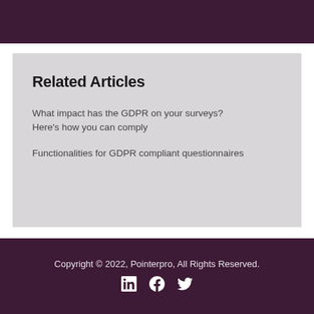Related Articles
What impact has the GDPR on your surveys? Here's how you can comply
Functionalities for GDPR compliant questionnaires
Copyright © 2022, Pointerpro, All Rights Reserved.